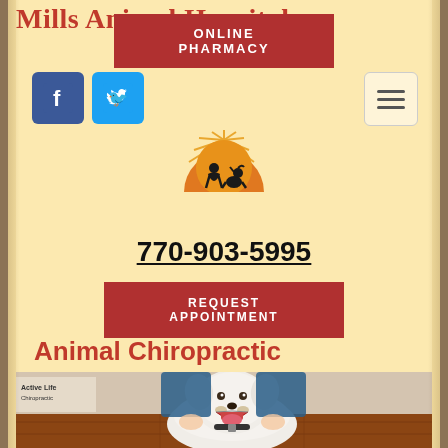ONLINE PHARMACY
[Figure (logo): Facebook logo icon (blue square with white F)]
[Figure (logo): Twitter logo icon (light blue square with white bird)]
[Figure (logo): Mills Animal Hospital logo: orange sunset with silhouettes of person and dog, with sun rays]
Mills Animal Hospital
770-903-5995
REQUEST APPOINTMENT
Animal Chiropractic
[Figure (photo): A woman in blue scrubs kneeling behind a large white fluffy dog (golden doodle) that is smiling with mouth open, inside a veterinary office with wood flooring. A sign reading 'Active Life Chiropractic' is visible on the left.]